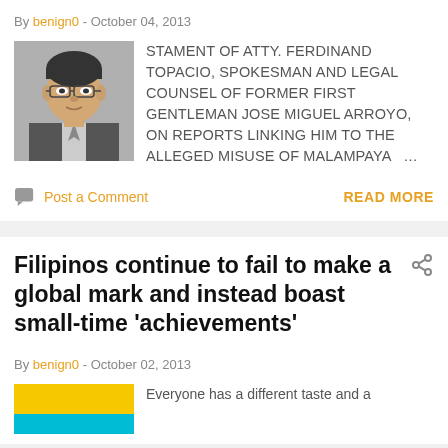By benign0 - October 04, 2013
[Figure (photo): Headshot photo of a man wearing glasses in a suit]
STAMENT OF ATTY. FERDINAND TOPACIO, SPOKESMAN AND LEGAL COUNSEL OF FORMER FIRST GENTLEMAN JOSE MIGUEL ARROYO, ON REPORTS LINKING HIM TO THE ALLEGED MISUSE OF MALAMPAYA ...
Post a Comment
READ MORE
Filipinos continue to fail to make a global mark and instead boast small-time 'achievements'
By benign0 - October 02, 2013
[Figure (illustration): Thumbnail image with yellow and teal/blue colors]
Everyone has a different taste and a